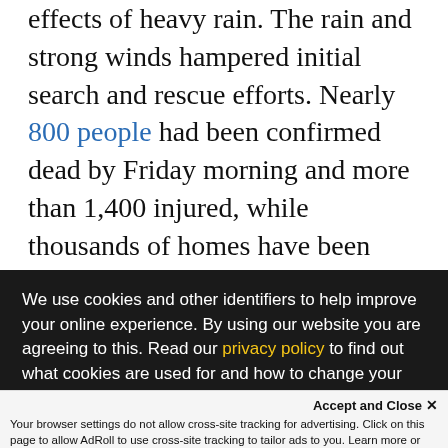effects of heavy rain. The rain and strong winds hampered initial search and rescue efforts. Nearly 800 people had been confirmed dead by Friday morning and more than 1,400 injured, while thousands of homes have been destroyed or damaged. Survivors spoke to The Guardian about losing their entire extended family and villages being buried. UNHCR, together with other UN agencies and partner organizations, has been rushing staff and humanitarian supplies
We use cookies and other identifiers to help improve your online experience. By using our website you are agreeing to this. Read our privacy policy to find out what cookies are used for and how to change your settings.
Accept and Close ×
Your browser settings do not allow cross-site tracking for advertising. Click on this page to allow AdRoll to use cross-site tracking to tailor ads to you. Learn more or opt out of this AdRoll tracking by clicking here. This message only appears once.